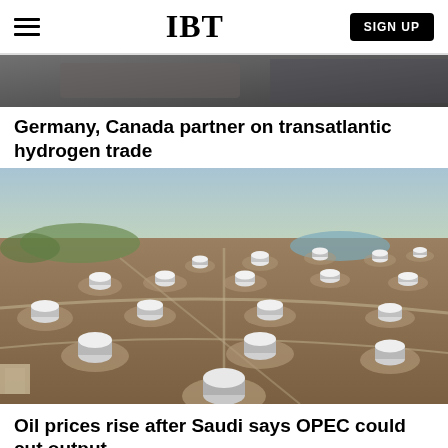IBT
[Figure (photo): Partial top of a news article image, showing a person in background]
Germany, Canada partner on transatlantic hydrogen trade
[Figure (photo): Aerial photograph of a large oil storage tank farm showing dozens of white cylindrical tanks on brown/dirt terrain]
Oil prices rise after Saudi says OPEC could cut output